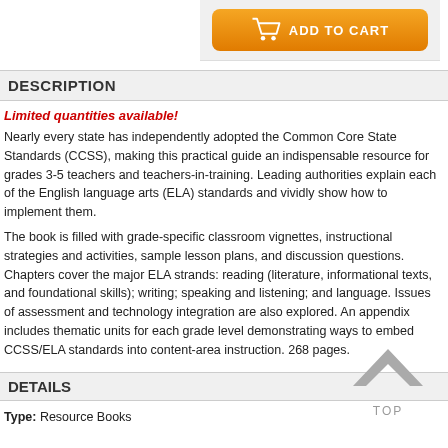[Figure (other): Orange Add to Cart button with shopping cart icon]
DESCRIPTION
Limited quantities available!
Nearly every state has independently adopted the Common Core State Standards (CCSS), making this practical guide an indispensable resource for grades 3-5 teachers and teachers-in-training. Leading authorities explain each of the English language arts (ELA) standards and vividly show how to implement them.
The book is filled with grade-specific classroom vignettes, instructional strategies and activities, sample lesson plans, and discussion questions. Chapters cover the major ELA strands: reading (literature, informational texts, and foundational skills); writing; speaking and listening; and language. Issues of assessment and technology integration are also explored. An appendix includes thematic units for each grade level demonstrating ways to embed CCSS/ELA standards into content-area instruction. 268 pages.
DETAILS
Type: Resource Books
[Figure (illustration): Gray upward-pointing chevron arrow with TOP label below it]